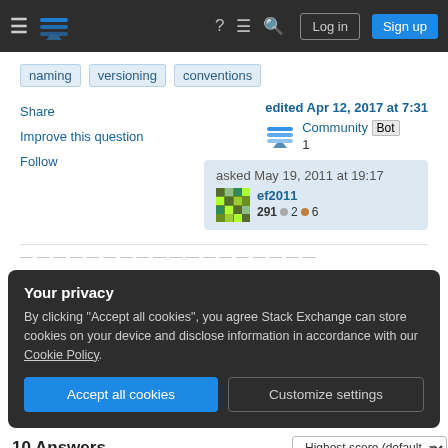Stack Exchange | Log in | Sign up
naming
versioning
conventions
Share
Improve this question
Follow
edited Apr 12, 2017 at 7:31
Community Bot
1
asked May 19, 2011 at 19:17
ef2011
291 ● 2 ● 6
Your privacy
By clicking "Accept all cookies", you agree Stack Exchange can store cookies on your device and disclose information in accordance with our Cookie Policy.
Accept all cookies
Customize settings
10 Answers